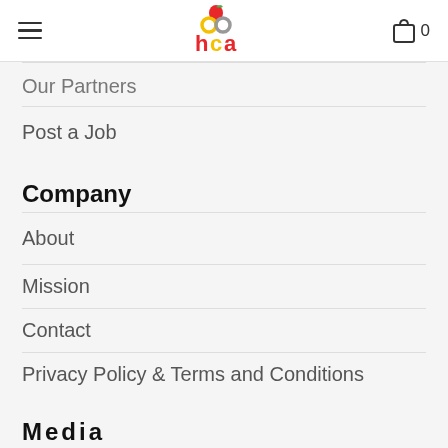hca logo, navigation menu icon, cart icon with count 0
Our Partners
Post a Job
Company
About
Mission
Contact
Privacy Policy & Terms and Conditions
Media
Advertising
Writers Guidelines
Become a Partner